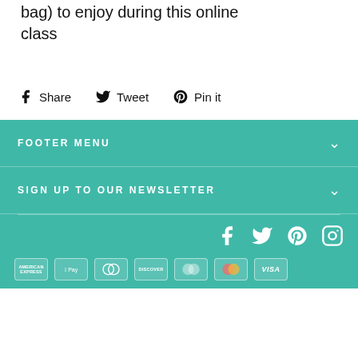bag) to enjoy during this online class
Share  Tweet  Pin it
FOOTER MENU
SIGN UP TO OUR NEWSLETTER
[Figure (infographic): Social media icons: Facebook, Twitter, Pinterest, Instagram in white on teal background]
[Figure (infographic): Payment method icons: American Express, Apple Pay, Diners Club, Discover, Maestro, Mastercard, Visa]